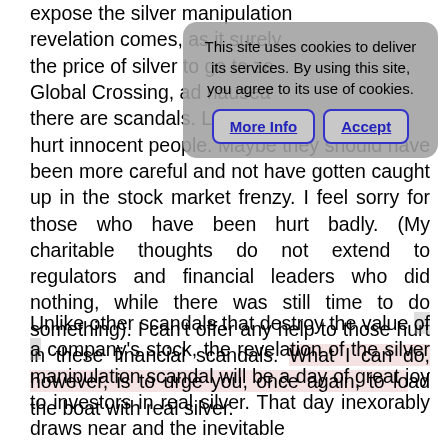expose the silver manipulation revelation comes, as it surely the price of silver to go to ze Global Crossing, ad nausea there are scandals. Let's fac hurt innocent people. Maybe they should have been more careful and not have gotten caught up in the stock market frenzy. I feel sorry for those who have been hurt badly. (My charitable thoughts do not extend to regulators and financial leaders who did nothing, while there was still time to do something). I can't offer any help to those hurt in these financial scandals. What I can do, however, is to urge you, once again, to load the boat with real silver.
Unlike other scandals that destroy the value of a company's stock, the revelation of the silver manipulation scandal will be a day of great joy to investors in real silver. That day inexorably draws near and the inevitable